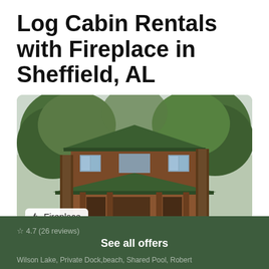Log Cabin Rentals with Fireplace in Sheffield, AL
[Figure (photo): Exterior photo of a two-story log cabin with green metal roof, surrounded by tall trees. A hammock is visible on the porch. A white badge overlay in the bottom-left reads 'Fireplace' with a flame icon.]
See all offers
4.7 (26 reviews)
Wilson Lake, Private Dock,beach, Shared Pool, Robert